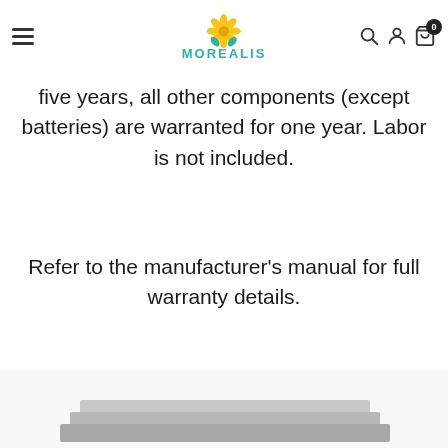MOREALIS — navigation header with logo, hamburger menu, search, account, and cart icons
five years, all other components (except batteries) are warranted for one year. Labor is not included.
Refer to the manufacturer's manual for full warranty details.
[Figure (photo): Bottom portion of page showing what appears to be a stacked product (book or device) photographed against a white background]